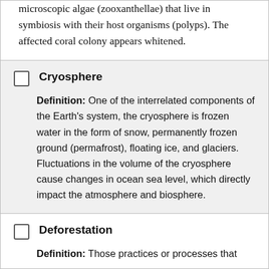microscopic algae (zooxanthellae) that live in symbiosis with their host organisms (polyps). The affected coral colony appears whitened.
Cryosphere — Definition: One of the interrelated components of the Earth's system, the cryosphere is frozen water in the form of snow, permanently frozen ground (permafrost), floating ice, and glaciers. Fluctuations in the volume of the cryosphere cause changes in ocean sea level, which directly impact the atmosphere and biosphere.
Deforestation — Definition: Those practices or processes that